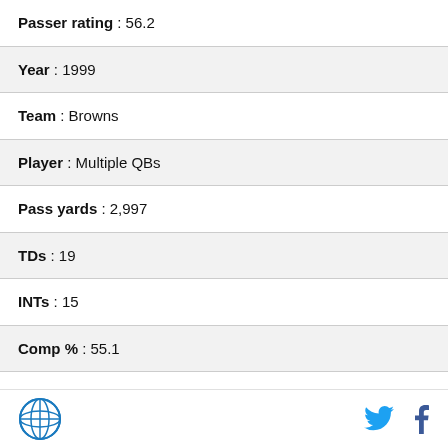| Passer rating : 56.2 |
| Year : 1999 |
| Team : Browns |
| Player : Multiple QBs |
| Pass yards : 2,997 |
| TDs : 19 |
| INTs : 15 |
| Comp % : 55.1 |
| Passer rating : 73.2 |
| Year : 1998 |
| Team : Saints |
Logo | Twitter | Facebook